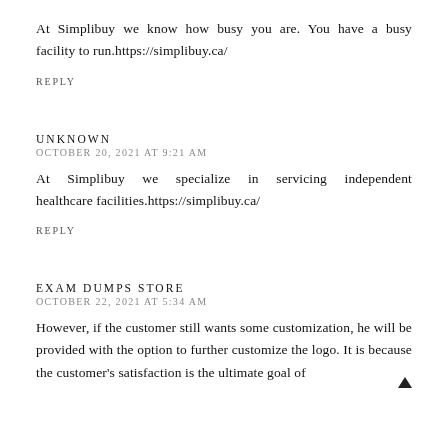At Simplibuy we know how busy you are. You have a busy facility to run.https://simplibuy.ca/
REPLY
UNKNOWN
OCTOBER 20, 2021 AT 9:21 AM
At Simplibuy we specialize in servicing independent healthcare facilities.https://simplibuy.ca/
REPLY
EXAM DUMPS STORE
OCTOBER 22, 2021 AT 5:34 AM
However, if the customer still wants some customization, he will be provided with the option to further customize the logo. It is because the customer's satisfaction is the ultimate goal of